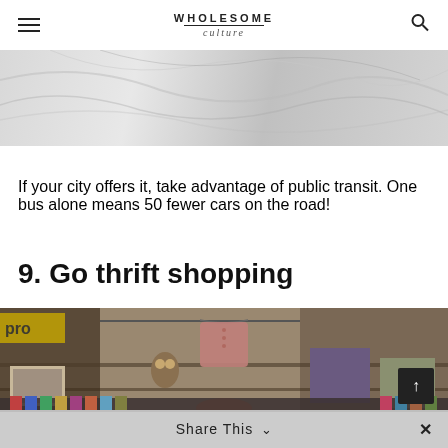WHOLESOME culture
[Figure (photo): Close-up photo of a marble or stone surface with grey and white textures]
If your city offers it, take advantage of public transit. One bus alone means 50 fewer cars on the road!
9. Go thrift shopping
[Figure (photo): Interior of a thrift shop showing clothing on hangers, artwork on shelves, decorative items including owl figurines, and a person with red hair browsing the racks]
Share This